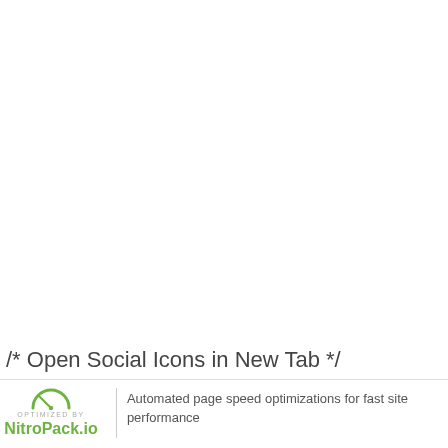/* Open Social Icons in New Tab */
[Figure (logo): NitroPack.io logo with speedometer arc icon and 'OPTIMIZED BY' text above brand name]
Automated page speed optimizations for fast site performance